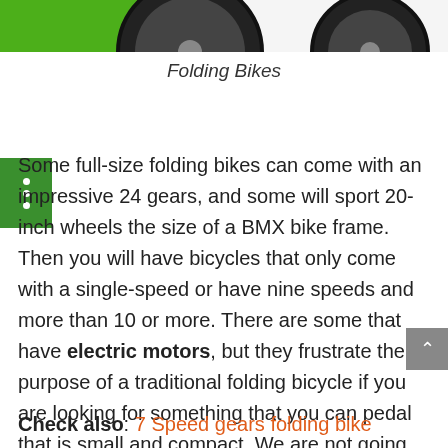[Figure (photo): Top portion of two folding bikes visible at the top of the page, partially cropped, with green accent color on left bike]
Folding Bikes
Some full-size folding bikes can come with an impressive 24 gears, and some will sport 20-inch wheels the size of a BMX bike frame. Then you will have bicycles that only come with a single-speed or have nine speeds and more than 10 or more. There are some that have electric motors, but they frustrate the purpose of a traditional folding bicycle if you are looking for something that you can pedal that is small and compact. We are not going to cover electric bikes here because it is a whole new topic.
Check also: 7 Speed gears folding bike